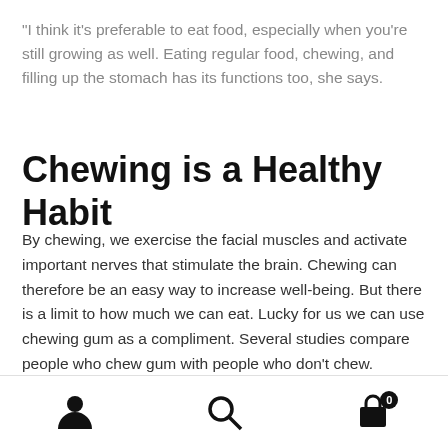“I think it’s preferable to eat food, especially when you’re still growing as well. Eating regular food, chewing, and filling up the stomach has its functions too, she says.
Chewing is a Healthy Habit
By chewing, we exercise the facial muscles and activate important nerves that stimulate the brain. Chewing can therefore be an easy way to increase well-being. But there is a limit to how much we can eat. Lucky for us we can use chewing gum as a compliment. Several studies compare people who chew gum with people who don’t chew. Statistically speaking, those who chew are less
Navigation footer with person, search, and cart icons